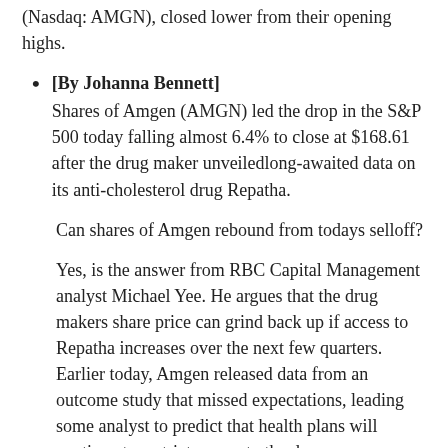(Nasdaq: AMGN), closed lower from their opening highs.
[By Johanna Bennett] Shares of Amgen (AMGN) led the drop in the S&P 500 today falling almost 6.4% to close at $168.61 after the drug maker unveiledlong-awaited data on its anti-cholesterol drug Repatha.
Can shares of Amgen rebound from todays selloff?
Yes, is the answer from RBC Capital Management analyst Michael Yee. He argues that the drug makers share price can grind back up if access to Repatha increases over the next few quarters. Earlier today, Amgen released data from an outcome study that missed expectations, leading some analyst to predict that health plans will continue to restrict access to the drug.